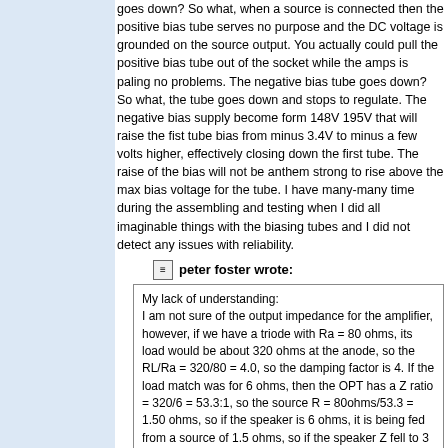goes down? So what, when a source is connected then the positive bias tube serves no purpose and the DC voltage is grounded on the source output. You actually could pull the positive bias tube out of the socket while the amps is paling no problems. The negative bias tube goes down? So what, the tube goes down and stops to regulate. The negative bias supply become form 148V 195V that will raise the fist tube bias from minus 3.4V to minus a few volts higher, effectively closing down the first tube. The raise of the bias will not be anthem strong to rise above the max bias voltage for the tube. I have many-many time during the assembling and testing when I did all imaginable things with the biasing tubes and I did not detect any issues with reliability.
peter foster wrote:
My lack of understanding: I am not sure of the output impedance for the amplifier, however, if we have a triode with Ra = 80 ohms, its load would be about 320 ohms at the anode, so the RL/Ra = 320/80 = 4.0, so the damping factor is 4. If the load match was for 6 ohms, then the OPT has a Z ratio = 320/6 = 53.3:1, so the source R = 80ohms/53.3 = 1.50 ohms, so if the speaker is 6 ohms, it is being fed from a source of 1.5 ohms, so if the speaker Z fell to 3 ohms at some F the output voltage would fall considerably. The price for no FB is high output source resistance unless the OPT ratio is high. Higher than standard OPT ratios make an amp inefficient, but the higher the